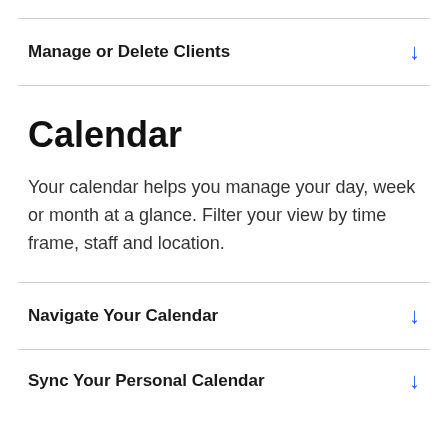Manage or Delete Clients
Calendar
Your calendar helps you manage your day, week or month at a glance. Filter your view by time frame, staff and location.
Navigate Your Calendar
Sync Your Personal Calendar